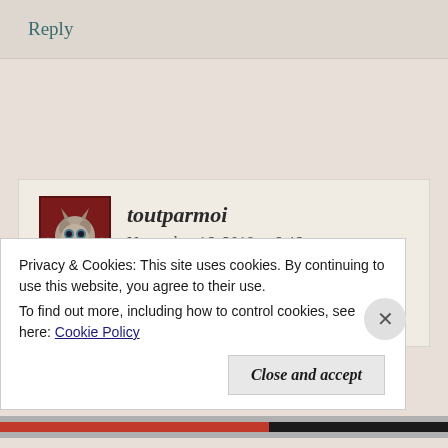Reply
toutparmoi   November 16, 2018 at 6:46 am
Telepathy, Roxie. I was just thinking today that you hadn't given us the benefit of your wisdom
Privacy & Cookies: This site uses cookies. By continuing to use this website, you agree to their use.
To find out more, including how to control cookies, see here: Cookie Policy
Close and accept